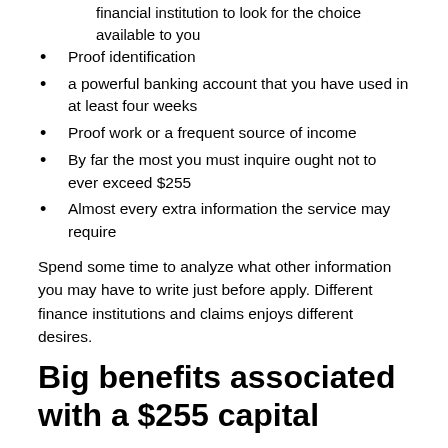financial institution to look for the choice available to you
Proof identification
a powerful banking account that you have used in at least four weeks
Proof work or a frequent source of income
By far the most you must inquire ought not to ever exceed $255
Almost every extra information the service may require
Spend some time to analyze what other information you may have to write just before apply. Different finance institutions and claims enjoys different desires.
Big benefits associated with a $255 capital
Getting $255 cash advance payday loan possesses certain vital importance. These include:
Possible qualify even if you deliver terrible credit. They provide any and